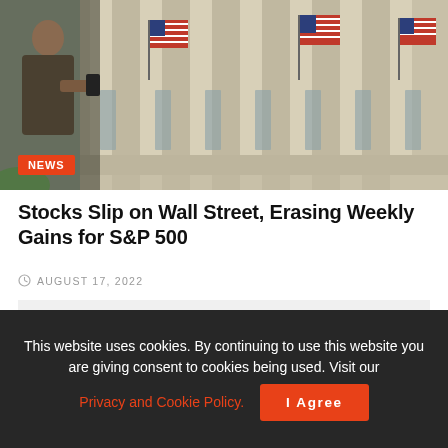[Figure (photo): Person walking in front of the New York Stock Exchange building with American flags displayed on the columns]
Stocks Slip on Wall Street, Erasing Weekly Gains for S&P 500
AUGUST 17, 2022
[Figure (other): Advertisement placeholder block (gray box)]
This website uses cookies. By continuing to use this website you are giving consent to cookies being used. Visit our Privacy and Cookie Policy.